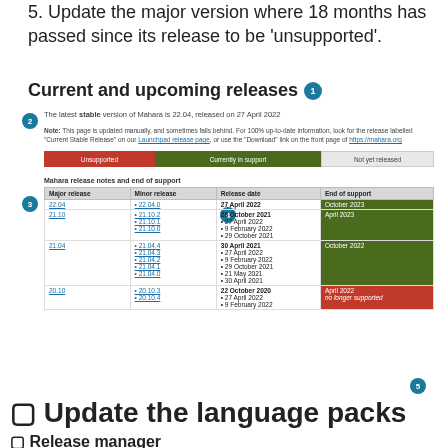5. Update the major version where 18 months has passed since its release to be 'unsupported'.
Current and upcoming releases
The latest stable version of Mahara is 22.04, released on 27 April 2022
Note: This page is updated manually, and sometimes falls behind. For 100% up-to-date information, look for the release labelled 'Current Stable Release' on our Launchpad release page, or use the 'Download' link on the front page of https://mahara.org
[Figure (infographic): Legend showing three categories: Unsupported (red), Currently in support (dark green), Not yet released (light grey)]
| Major release | Minor release | Release date | End of support |
| --- | --- | --- | --- |
| 22.04 | 22.04.0 | 27 April 2022 | October 2023 |
| 21.10 | 21.10.2
21.10.1
21.10.0 | 28 October 2021
27 April 2022
9 February 2022
29 October 2021 | April 2023 |
| 21.04 | 21.04.4
21.04.3
21.04.2
21.04.1
21.04.0 | 30 April 2021
27 April 2022
9 February 2022
29 October 2021
21 May 2021
30 April 2021 | October 2022 |
| 20.10 | 20.10.3
20.10.4 | 22 October 2020
27 April 2022
9 February 2022 | April 2022
no longer supported |
🔲 Update the language packs
🔲 Release manager